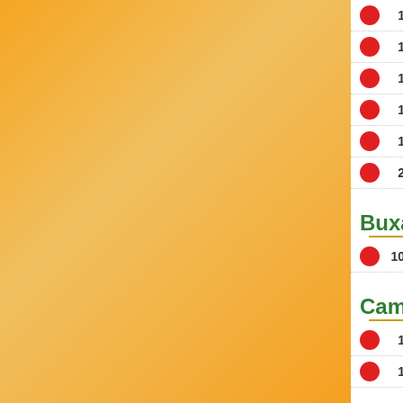1 Biscutella cichoriifolia Loisel., 1...
1 Erysimum ruscinonense Jord., 1...
1 Hesperis laciniata All., 1785
1 Hornungia petraea (L.) Rchb., 18...
1 Iberis pinnata L., 1755
2 Iberis saxatilis L., 1756
Buxaceae
10 Buxus sempervirens L., 1753
Campanulaceae
1 Campanula glomerata L. subsp.
1 Phyteuma orbiculare L., 1753